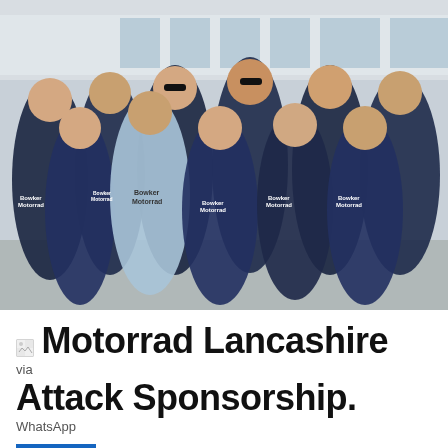[Figure (photo): Group photo of youth football team wearing dark navy Joma jerseys with 'Bowker Motorrad' sponsorship printed on them. One player in the center wears a light blue goalkeeper kit also with 'Bowker Motorrad' branding. The team is standing in front of what appears to be a building with large glass windows. Several players wear sunglasses.]
Motorrad Lancashire Attack Sponsorship.
via WhatsApp